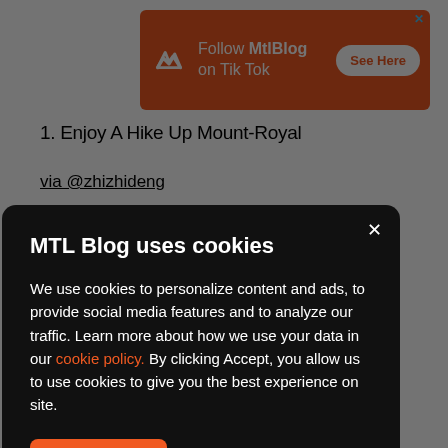[Figure (screenshot): Orange advertisement banner for MtlBlog TikTok with logo, text 'Follow MtlBlog on Tik Tok' and 'See Here' button]
1. Enjoy A Hike Up Mount-Royal
via @zhizhideng
[Figure (screenshot): Cookie consent modal dialog with dark background. Title: 'MTL Blog uses cookies'. Body text about cookie usage with link to cookie policy. Accept button in orange.]